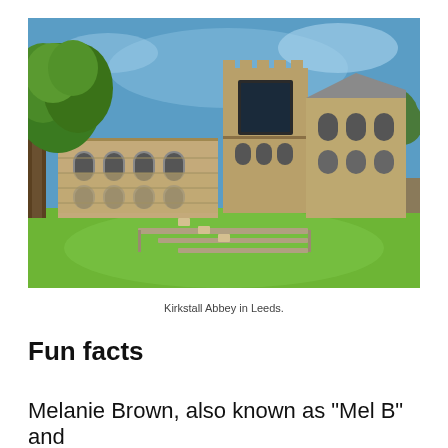[Figure (photo): Photograph of Kirkstall Abbey ruins in Leeds, showing stone arched walls, a tower with a large rectangular window opening, green lawn in the foreground with stone foundations, and a large green tree on the left under a blue sky.]
Kirkstall Abbey in Leeds.
Fun facts
Melanie Brown, also known as "Mel B" and